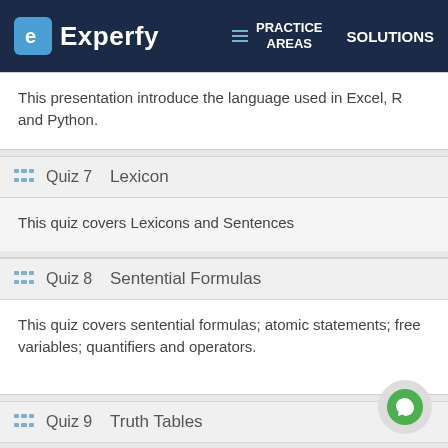Experfy | PRACTICE AREAS | SOLUTIONS
This presentation introduce the language used in Excel, R and Python.
Quiz 7   Lexicon
This quiz covers Lexicons and Sentences
Quiz 8   Sentential Formulas
This quiz covers sentential formulas; atomic statements; free variables; quantifiers and operators.
Quiz 9   Truth Tables